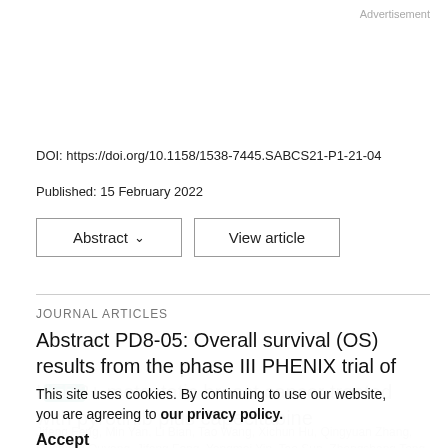Advertisement
DOI: https://doi.org/10.1158/1538-7445.SABCS21-P1-21-04
Published: 15 February 2022
Abstract ∨   View article
JOURNAL ARTICLES
Abstract PD8-05: Overall survival (OS) results from the phase III PHENIX trial of HER2+ metastatic breast cancer treated with pyrotinib plus capecitabine
This site uses cookies. By continuing to use our website, you are agreeing to our privacy policy.
Accept